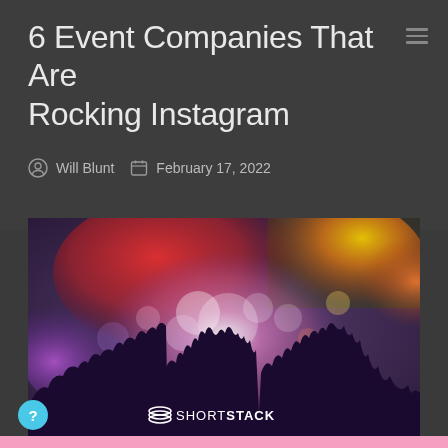6 Event Companies That Are Rocking Instagram
Will Blunt  February 17, 2022
[Figure (photo): Concert crowd silhouette with colorful stage lights (red, orange, yellow, purple, pink, white bokeh effect) and ShortStack logo overlay at the bottom center.]